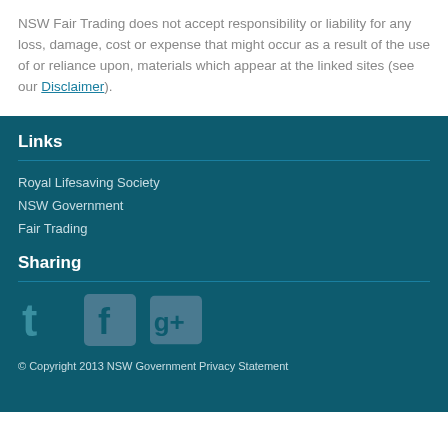NSW Fair Trading does not accept responsibility or liability for any loss, damage, cost or expense that might occur as a result of the use of or reliance upon, materials which appear at the linked sites (see our Disclaimer).
Links
Royal Lifesaving Society
NSW Government
Fair Trading
Sharing
[Figure (illustration): Three social media icons: Twitter (bird logo), Facebook (f logo), Google+ (g+ logo), rendered in teal/muted tones on dark teal background]
© Copyright 2013 NSW Government Privacy Statement